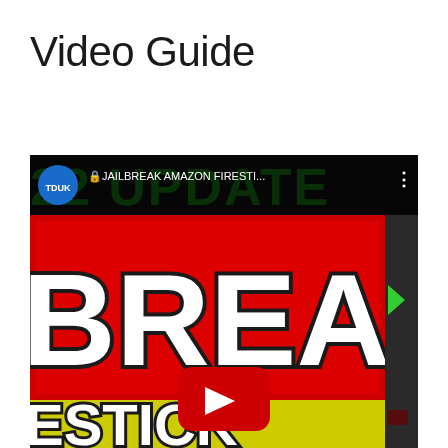Video Guide
[Figure (screenshot): YouTube video thumbnail screenshot showing a YouTube interface with a video titled 'JAILBREAK AMAZON FIRESTI...' by channel TDUK. The thumbnail shows bold white text 'BREAK' on a red background, and partially visible 'ESTICK' text on a yellow background, with a YouTube play button overlay. Background shows green text '22 UPDATE'.]